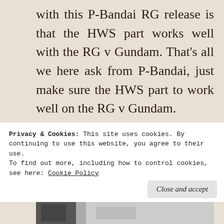with this P-Bandai RG release is that the HWS part works well with the RG v Gundam. That's all we here ask from P-Bandai, just make sure the HWS part to work well on the RG v Gundam.
[Figure (photo): Close-up photo of a Gundam model kit showing yellow fin funnels/spikes, white head piece, dark grey backpack with red and black cylindrical parts, and grey armor panels]
Privacy & Cookies: This site uses cookies. By continuing to use this website, you agree to their use.
To find out more, including how to control cookies, see here: Cookie Policy
[Figure (photo): Partial view of another Gundam model kit at the bottom of the page]